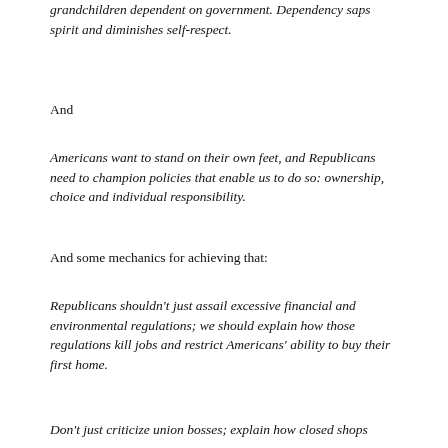grandchildren dependent on government. Dependency saps spirit and diminishes self-respect.
And
Americans want to stand on their own feet, and Republicans need to champion policies that enable us to do so: ownership, choice and individual responsibility.
And some mechanics for achieving that:
Republicans shouldn't just assail excessive financial and environmental regulations; we should explain how those regulations kill jobs and restrict Americans' ability to buy their first home.
Don't just say no to new taxes—fundamentally reform the tax code so that every American can file his taxes on a postcard.  Eliminate the corporate welfare and complexity that enrich only accountants and lawyers.
Don't just criticize union bosses; explain how closed shops